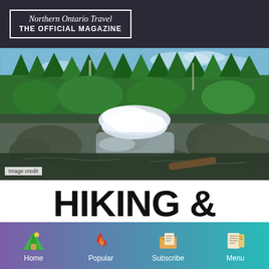Northern Ontario Travel THE OFFICIAL MAGAZINE
[Figure (photo): Wide landscape photo of a rocky river with rushing whitewater and green forest in the background under a blue sky.]
Image credit
HIKING & HOSPITALITY IN
Home | Popular | Subscribe | Menu